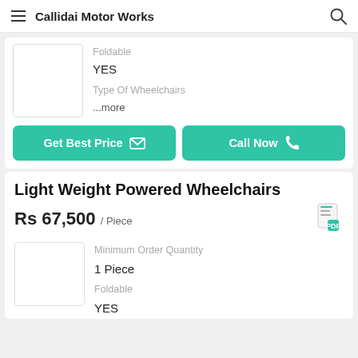Callidai Motor Works
Foldable
YES
Type Of Wheelchairs
...more
Get Best Price
Call Now
Light Weight Powered Wheelchairs
Rs 67,500 / Piece
Minimum Order Quantity
1 Piece
Foldable
YES